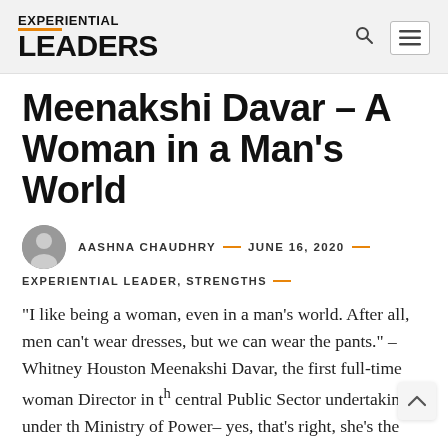EXPERIENTIAL LEADers
Meenakshi Davar – A Woman in a Man’s World
AASHNA CHAUDHRY — JUNE 16, 2020 — EXPERIENTIAL LEADER, STRENGTHS
“I like being a woman, even in a man’s world. After all, men can’t wear dresses, but we can wear the pants.” – Whitney Houston Meenakshi Davar, the first full-time woman Director in the central Public Sector undertakings under the Ministry of Power– yes, that’s right, she’s the first!